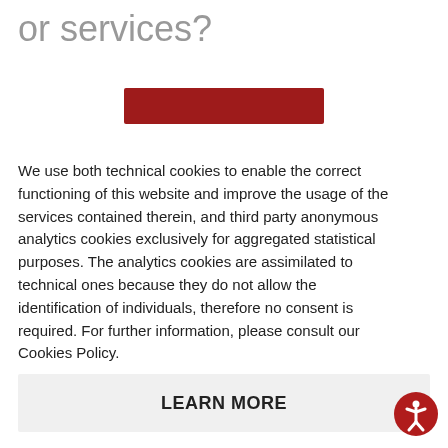or services?
[Figure (other): Partially visible red button/banner cropped at top]
We use both technical cookies to enable the correct functioning of this website and improve the usage of the services contained therein, and third party anonymous analytics cookies exclusively for aggregated statistical purposes. The analytics cookies are assimilated to technical ones because they do not allow the identification of individuals, therefore no consent is required. For further information, please consult our Cookies Policy.
LEARN MORE